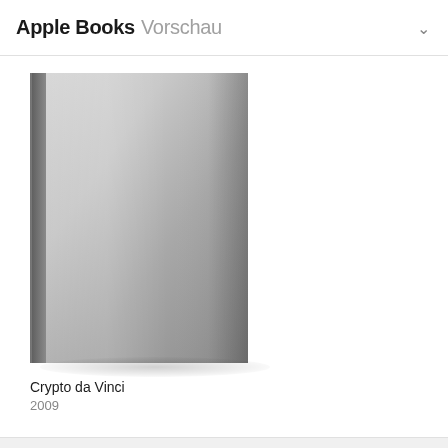Apple Books Vorschau
[Figure (illustration): Book cover shown as a plain gray gradient hardcover book with a dark spine on the left side, center-top crop view, no title text on cover, rendered with shadow below]
Crypto da Vinci
2009